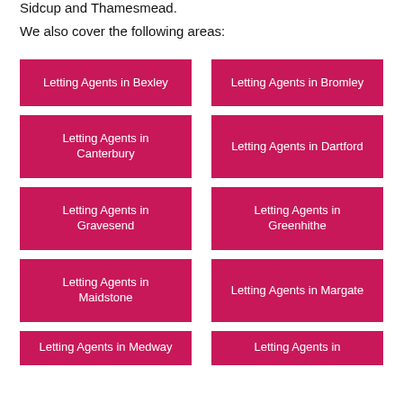Sidcup and Thamesmead.
We also cover the following areas:
Letting Agents in Bexley
Letting Agents in Bromley
Letting Agents in Canterbury
Letting Agents in Dartford
Letting Agents in Gravesend
Letting Agents in Greenhithe
Letting Agents in Maidstone
Letting Agents in Margate
Letting Agents in Medway
Letting Agents in